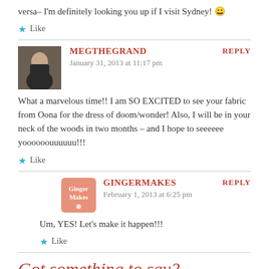versa– I'm definitely looking you up if I visit Sydney! 😀
Like
MEGTHEGRAND says:
January 31, 2013 at 11:17 pm
REPLY
What a marvelous time!! I am SO EXCITED to see your fabric from Oona for the dress of doom/wonder! Also, I will be in your neck of the woods in two months – and I hope to seeeeee yoooooouuuuuu!!!
Like
GINGERMAKES says:
February 1, 2013 at 6:25 pm
REPLY
Um, YES! Let's make it happen!!!
Like
Got something to say?